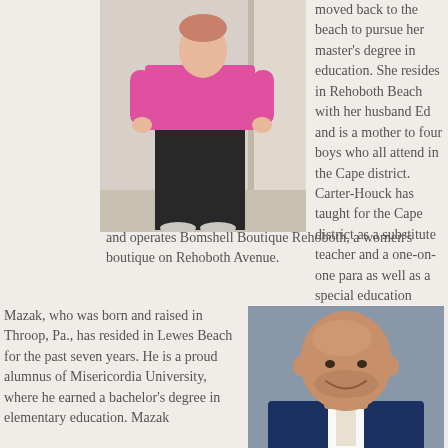[Figure (photo): Woman in pink top and dark pants standing by a door]
moved back to the beach to pursue her master's degree in education. She resides in Rehoboth Beach with her husband Ed and is a mother to four boys who all attend in the Cape district. Carter-Houck has taught for the Cape district as a substitute teacher and a one-on-one para as well as a special education teacher for the Sussex Consortium at Shields Elementary. She also owns and operates Bomshell Boutique Rehoboth, a women's boutique on Rehoboth Avenue.
Mazak, who was born and raised in Throop, Pa., has resided in Lewes Beach for the past seven years. He is a proud alumnus of Misericordia University, where he earned a bachelor's degree in elementary education. Mazak
[Figure (photo): Professional headshot of a bald man in a navy suit smiling]